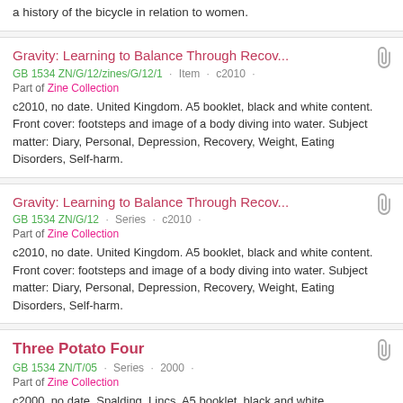a history of the bicycle in relation to women.
Gravity: Learning to Balance Through Recov...
GB 1534 ZN/G/12/zines/G/12/1 · Item · c2010 ·
Part of Zine Collection
c2010, no date. United Kingdom. A5 booklet, black and white content. Front cover: footsteps and image of a body diving into water. Subject matter: Diary, Personal, Depression, Recovery, Weight, Eating Disorders, Self-harm.
Gravity: Learning to Balance Through Recov...
GB 1534 ZN/G/12 · Series · c2010 ·
Part of Zine Collection
c2010, no date. United Kingdom. A5 booklet, black and white content. Front cover: footsteps and image of a body diving into water. Subject matter: Diary, Personal, Depression, Recovery, Weight, Eating Disorders, Self-harm.
Three Potato Four
GB 1534 ZN/T/05 · Series · 2000 ·
Part of Zine Collection
c2000, no date. Spalding, Lincs. A5 booklet, black and white.